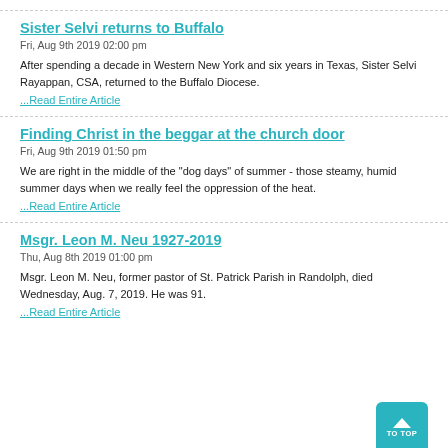Sister Selvi returns to Buffalo
Fri, Aug 9th 2019 02:00 pm
After spending a decade in Western New York and six years in Texas, Sister Selvi Rayappan, CSA, returned to the Buffalo Diocese.
...Read Entire Article
Finding Christ in the beggar at the church door
Fri, Aug 9th 2019 01:50 pm
We are right in the middle of the "dog days" of summer - those steamy, humid summer days when we really feel the oppression of the heat.
...Read Entire Article
Msgr. Leon M. Neu 1927-2019
Thu, Aug 8th 2019 01:00 pm
Msgr. Leon M. Neu, former pastor of St. Patrick Parish in Randolph, died Wednesday, Aug. 7, 2019. He was 91.
...Read Entire Article